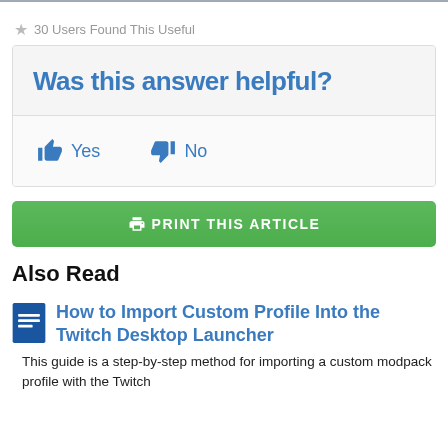30 Users Found This Useful
Was this answer helpful?
Yes   No
PRINT THIS ARTICLE
Also Read
How to Import Custom Profile Into the Twitch Desktop Launcher
This guide is a step-by-step method for importing a custom modpack profile with the Twitch